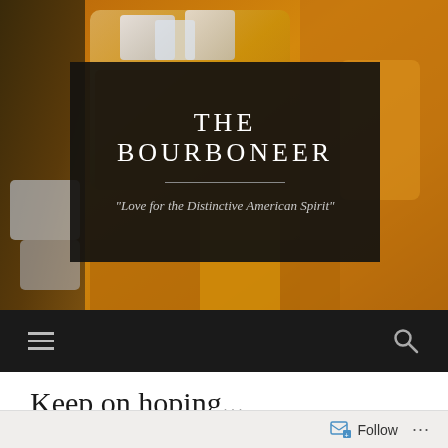[Figure (photo): Header photo of whiskey/bourbon glass with ice cubes on a warm amber background, overlaid with dark semi-transparent box containing site title and tagline]
THE BOURBONEER
"Love for the Distinctive American Spirit"
[Figure (screenshot): Dark navigation bar with hamburger menu icon on left and search icon on right]
Keep on hoping...
Follow ...